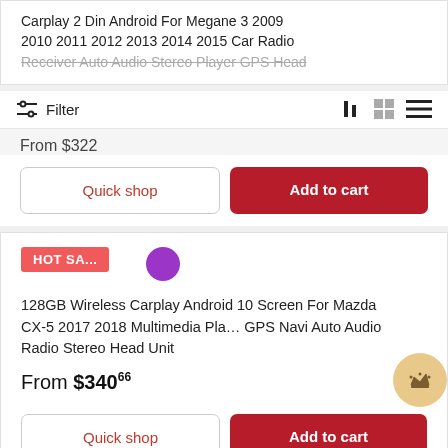Carplay 2 Din Android For Megane 3 2009 2010 2011 2012 2013 2014 2015 Car Radio Receiver Auto Audio Stereo Player GPS Head
Filter
From $322
Quick shop
Add to cart
HOT SA...
128GB Wireless Carplay Android 10 Screen For Mazda CX-5 2017 2018 Multimedia Player GPS Navi Auto Audio Radio Stereo Head Unit
From $34066
Quick shop
Add to cart